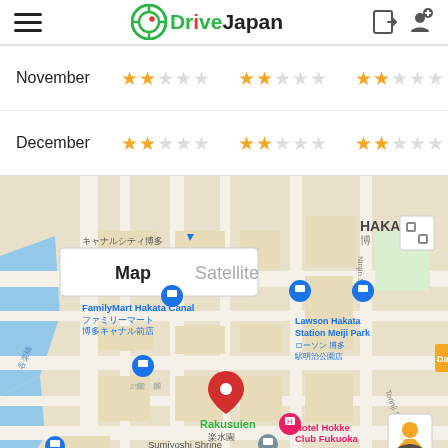DriveJapan
| Month | Rating 1 | Rating 2 | Rating 3 |
| --- | --- | --- | --- |
| November | 2/5 stars | 2/5 stars | 2/5 stars |
| December | 2/5 stars | 2/5 stars | 2/5 stars |
[Figure (map): Google Map showing area around Rakusuien (楽水園) in Fukuoka/Hakata area, Japan. Visible landmarks include: FamilyMart Hakata Canal (ファミリーマート 博多キャナル前店), Lawson Hakata Station Meiji Park (ローソン 博多駅明治公園店), Sumiyoshi Shrine (筑前國一之宮 住宅吉神社), Hotel Hokke Club Fukuoka (ホテル法華クラ), Seven-Eleven (イレブン 吉橋店), 3 CHOME. Map/Satellite toggle buttons visible. Red pin on Rakusuien. Street Pegman figure visible. Zoom +/- controls visible.]